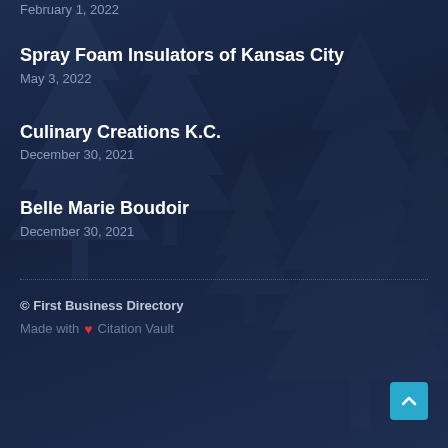February 1, 2022
Spray Foam Insulators of Kansas City
May 3, 2022
Culinary Creations K.C.
December 30, 2021
Belle Marie Boudoir
December 30, 2021
© First Business Directory
Made with ♥ Citation Vault